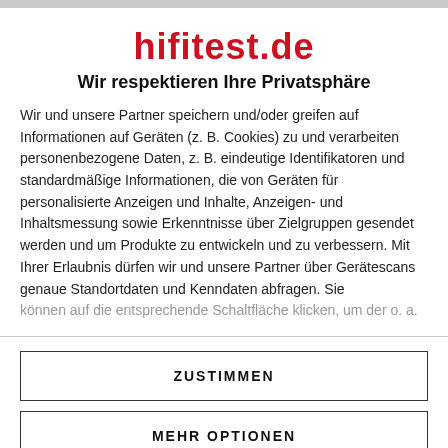hifitest.de
Wir respektieren Ihre Privatsphäre
Wir und unsere Partner speichern und/oder greifen auf Informationen auf Geräten (z. B. Cookies) zu und verarbeiten personenbezogene Daten, z. B. eindeutige Identifikatoren und standardmäßige Informationen, die von Geräten für personalisierte Anzeigen und Inhalte, Anzeigen- und Inhaltsmessung sowie Erkenntnisse über Zielgruppen gesendet werden und um Produkte zu entwickeln und zu verbessern. Mit Ihrer Erlaubnis dürfen wir und unsere Partner über Gerätescans genaue Standortdaten und Kenndaten abfragen. Sie können auf die entsprechende Schaltfläche klicken, um der o. a.
ZUSTIMMEN
MEHR OPTIONEN
Power Supply